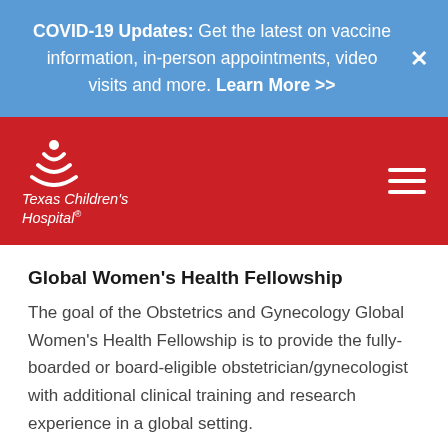COVID-19 Updates: Get the latest on vaccine information, in-person appointments, video visits and more. Learn More >>
[Figure (logo): Texas Children's Hospital logo — white stylized figure icon above the text 'Texas Children's Hospital' on a red navigation bar with a hamburger menu icon on the right]
Global Women's Health Fellowship
The goal of the Obstetrics and Gynecology Global Women's Health Fellowship is to provide the fully-boarded or board-eligible obstetrician/gynecologist with additional clinical training and research experience in a global setting.
Learn More